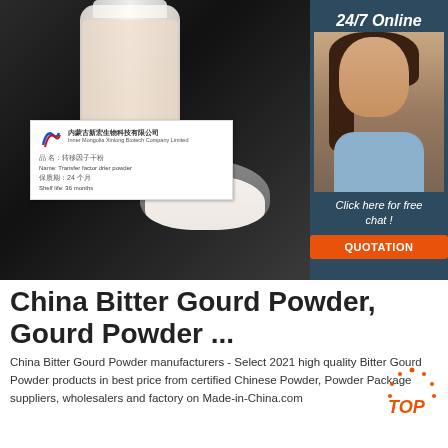[Figure (photo): Product photo showing a bottle of white powder/liquid with a label from Inner Mongolia Xinlong Biotech Company Limited. The label shows Chinese text and 'Transfer factor drier powder' with shelf life 36 months. A bowl of white powder is also visible. A dark background behind the products.]
[Figure (photo): Customer service agent - a woman with dark hair wearing a headset and blue shirt, set against a dark teal banner panel. Text reads '24/7 Online', 'Click here for free chat!', and an orange 'QUOTATION' button.]
China Bitter Gourd Powder, Gourd Powder ...
China Bitter Gourd Powder manufacturers - Select 2021 high quality Bitter Gourd Powder products in best price from certified Chinese Powder, Powder Package suppliers, wholesalers and factory on Made-in-China.com